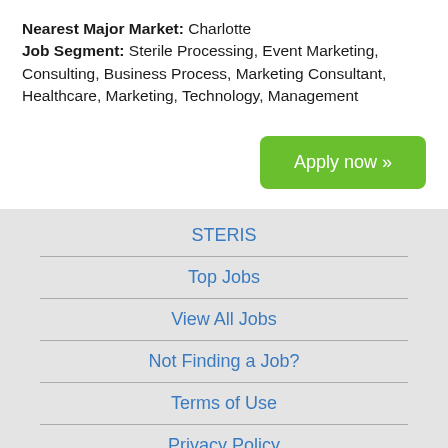Nearest Major Market: Charlotte Job Segment: Sterile Processing, Event Marketing, Consulting, Business Process, Marketing Consultant, Healthcare, Marketing, Technology, Management
Apply now »
STERIS | Top Jobs | View All Jobs | Not Finding a Job? | Terms of Use | Privacy Policy